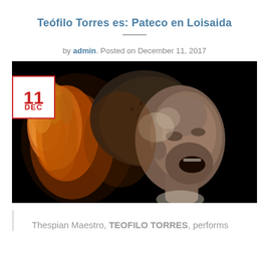Teófilo Torres es: Pateco en Loisaida
by admin. Posted on December 11, 2017
[Figure (photo): A dramatic artistic photo of a man with head tilted back, mouth open, with fire/flame effects around his head against a black background. A white calendar badge with red border shows '11 DEC' overlaid in the top-left corner.]
Thespian Maestro, TEOFILO TORRES, performs